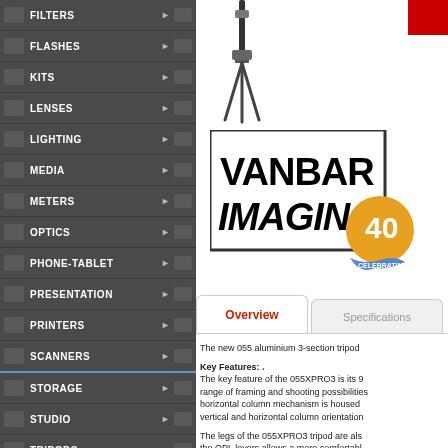FILTERS
FLASHES
KITS
LENSES
LIGHTING
MEDIA
METERS
OPTICS
PHONE-TABLET
PRESENTATION
PRINTERS
SCANNERS
STORAGE
STUDIO
TRIPODS
UAV-DRONES
USED
_Gift-Card
_Photolab
[Figure (logo): Vanbar Imaging 40th anniversary logo with bold black text on white background with gold/yellow 40 badge]
[Figure (photo): Tripod product image (partial, top portion visible)]
Overview
Specifications
The new 055 aluminium 3-section tripod
Key Features: . The key feature of the 055XPRO3 is its 9 range of framing and shooting possibilities horizontal column mechanism is housed vertical and horizontal column orientation
The legs of the 055XPRO3 tripod are als the QPL levers allows a more comfortabl